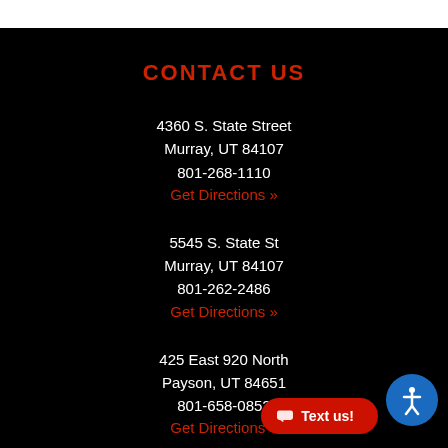CONTACT US
4360 S. State Street
Murray, UT 84107
801-268-1110
Get Directions »
5545 S. State St
Murray, UT 84107
801-262-2486
Get Directions »
425 East 920 North
Payson, UT 84651
801-658-0852
Get Directions »
5240 Yellowstone Ave
Chubbuck, ID 82302